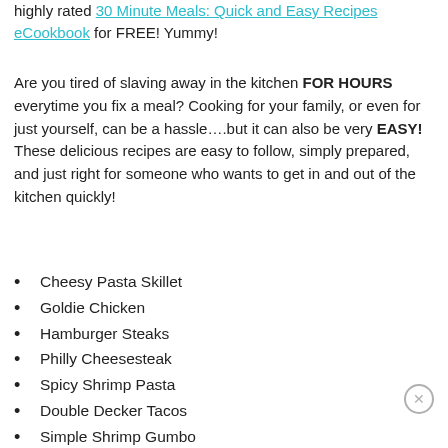highly rated 30 Minute Meals: Quick and Easy Recipes eCookbook for FREE! Yummy!
Are you tired of slaving away in the kitchen FOR HOURS everytime you fix a meal? Cooking for your family, or even for just yourself, can be a hassle….but it can also be very EASY! These delicious recipes are easy to follow, simply prepared, and just right for someone who wants to get in and out of the kitchen quickly!
Cheesy Pasta Skillet
Goldie Chicken
Hamburger Steaks
Philly Cheesesteak
Spicy Shrimp Pasta
Double Decker Tacos
Simple Shrimp Gumbo
Corn Soup
Chicken Tortilla Soup
Pepperoni Roll-Ups